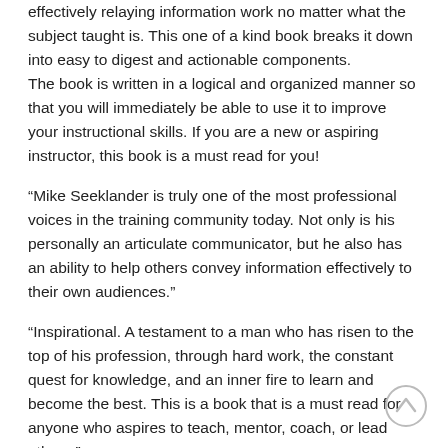effectively relaying information work no matter what the subject taught is. This one of a kind book breaks it down into easy to digest and actionable components.
The book is written in a logical and organized manner so that you will immediately be able to use it to improve your instructional skills. If you are a new or aspiring instructor, this book is a must read for you!
“Mike Seeklander is truly one of the most professional voices in the training community today. Not only is his personally an articulate communicator, but he also has an ability to help others convey information effectively to their own audiences.”
“Inspirational. A testament to a man who has risen to the top of his profession, through hard work, the constant quest for knowledge, and an inner fire to learn and become the best. This is a book that is a must read for anyone who aspires to teach, mentor, coach, or lead others.”
Included in the book is:
SECTION I: WHY WE INSTRUCT
My Greatest Resource